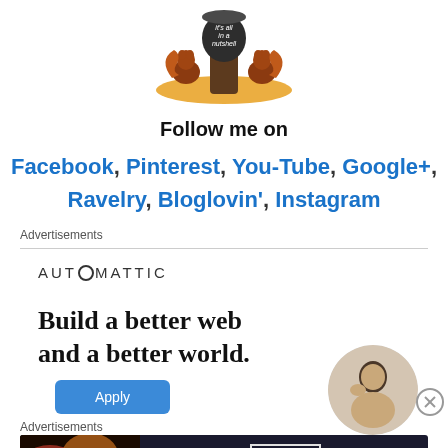[Figure (illustration): Cartoon squirrels with an acorn that reads 'it's all in a nutshell' blog logo]
Follow me on
Facebook, Pinterest, You-Tube, Google+, Ravelry, Bloglovin', Instagram
Advertisements
[Figure (logo): AUTOMATTIC logo with a circle-O glyph]
Build a better web and a better world.
[Figure (photo): Person thinking, circular cropped photo]
[Figure (screenshot): Apply button (blue rounded rectangle)]
Advertisements
[Figure (photo): Seamless food delivery ad with pizza image, seamless logo, and ORDER NOW button]